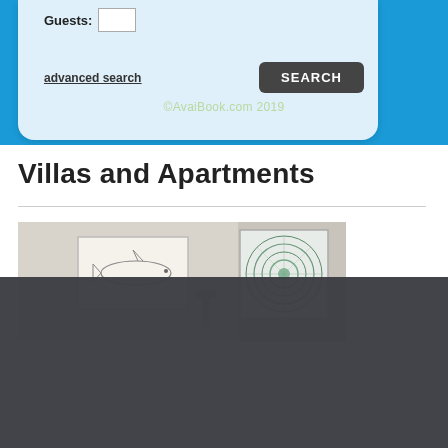[Figure (screenshot): Top portion of AvaiBook.com vacation rental search widget showing Guests input field, advanced search link, and SEARCH button on a light blue background]
©AvaiBook.com 2019
Villas and Apartments
[Figure (photo): Interior room photo showing white walls with framed artwork — a fish sketch on the left and a circular mandala-style artwork on the right]
Utilizamos cookies para asegurarnos de brindarle la mejor experiencia en nuestro sitio web. Si continúa utilizando este sitio, asumiremos que está satisfecho con él y acepta la política de cookies..
Aceptar
Info